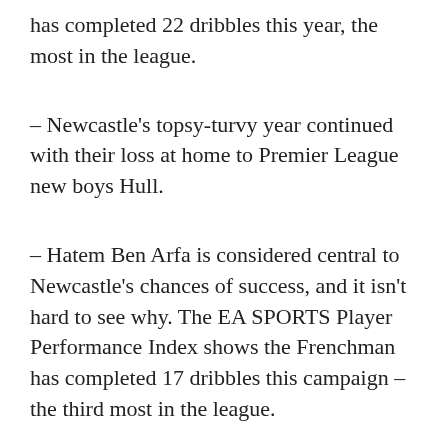has completed 22 dribbles this year, the most in the league.
– Newcastle's topsy-turvy year continued with their loss at home to Premier League new boys Hull.
– Hatem Ben Arfa is considered central to Newcastle's chances of success, and it isn't hard to see why. The EA SPORTS Player Performance Index shows the Frenchman has completed 17 dribbles this campaign – the third most in the league.
– Compatriot Mathieu Debuchy has been similarly